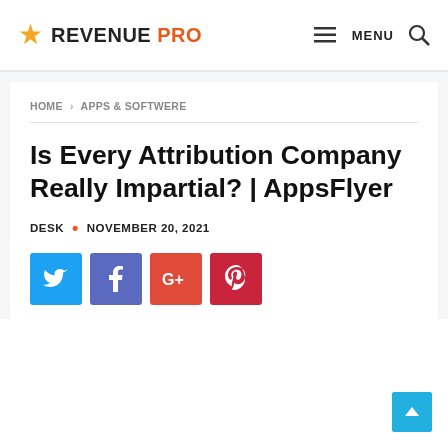REVENUE PRO  MENU
HOME > APPS & SOFTWERE
Is Every Attribution Company Really Impartial? | AppsFlyer
DESK · NOVEMBER 20, 2021
[Figure (other): Social share buttons: Twitter, Facebook, Google+, Pinterest]